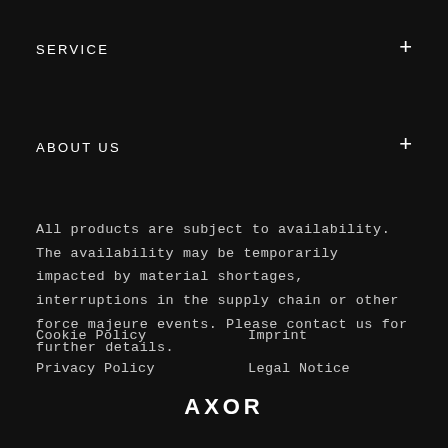SERVICE
ABOUT US
All products are subject to availability. The availability may be temporarily impacted by material shortages, interruptions in the supply chain or other force majeure events. Please contact us for further details.
Cookie Policy
Imprint
Privacy Policy
Legal Notice
[Figure (logo): AXOR brand logo in white text on black background]